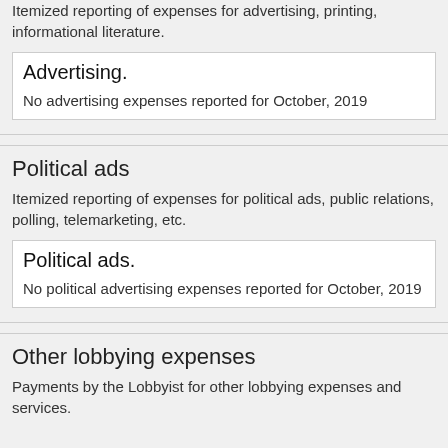Itemized reporting of expenses for advertising, printing, informational literature.
Advertising.
No advertising expenses reported for October, 2019
Political ads
Itemized reporting of expenses for political ads, public relations, polling, telemarketing, etc.
Political ads.
No political advertising expenses reported for October, 2019
Other lobbying expenses
Payments by the Lobbyist for other lobbying expenses and services.